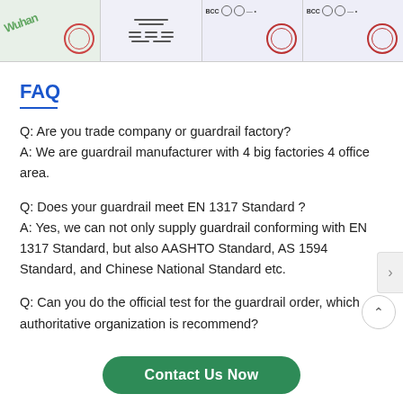[Figure (photo): Strip of four certificate/document thumbnail images at the top of the page]
FAQ
Q: Are you trade company or guardrail factory?
A: We are guardrail manufacturer with 4 big factories 4 office area.
Q: Does your guardrail meet EN 1317 Standard ?
A: Yes, we can not only supply guardrail conforming with EN 1317 Standard, but also AASHTO Standard, AS 1594 Standard, and Chinese National Standard etc.
Q: Can you do the official test for the guardrail order, which authoritative organization is recommend?